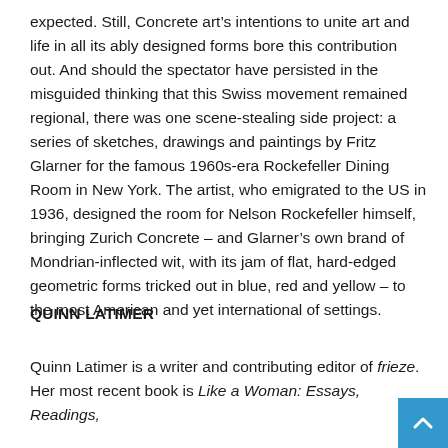expected. Still, Concrete art's intentions to unite art and life in all its ably designed forms bore this contribution out. And should the spectator have persisted in the misguided thinking that this Swiss movement remained regional, there was one scene-stealing side project: a series of sketches, drawings and paintings by Fritz Glarner for the famous 1960s-era Rockefeller Dining Room in New York. The artist, who emigrated to the US in 1936, designed the room for Nelson Rockefeller himself, bringing Zurich Concrete – and Glarner's own brand of Mondrian-inflected wit, with its jam of flat, hard-edged geometric forms tricked out in blue, red and yellow – to the most American and yet international of settings.
QUINN LATIMER
Quinn Latimer is a writer and contributing editor of frieze. Her most recent book is Like a Woman: Essays, Readings,